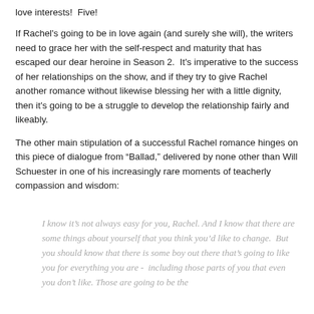love interests!  Five!
If Rachel's going to be in love again (and surely she will), the writers need to grace her with the self-respect and maturity that has escaped our dear heroine in Season 2.  It's imperative to the success of her relationships on the show, and if they try to give Rachel another romance without likewise blessing her with a little dignity, then it's going to be a struggle to develop the relationship fairly and likeably.
The other main stipulation of a successful Rachel romance hinges on this piece of dialogue from “Ballad,” delivered by none other than Will Schuester in one of his increasingly rare moments of teacherly compassion and wisdom:
I know it’s not always easy for you, Rachel. And I know that there are some things about yourself that you think you’d like to change.  But you should know that there is some boy out there that’s going to like you for everything you are -  including those parts of you that even you don’t like. Those are going to be the